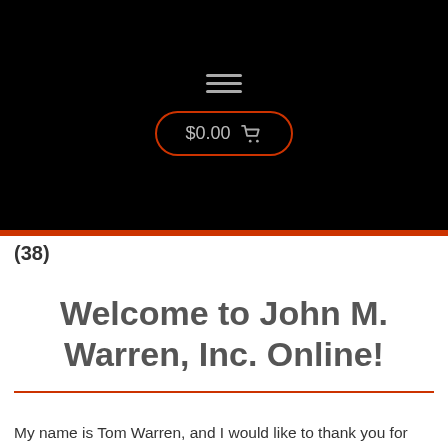[Figure (screenshot): Black navigation header bar with hamburger menu icon (three horizontal lines) and a cart button showing $0.00 with a shopping cart icon, outlined in red/orange rounded rectangle border]
(38)
Welcome to John M. Warren, Inc. Online!
My name is Tom Warren, and I would like to thank you for visiting our site. For the past 65 years John M. Warren, Inc. has delivered quality construction supplies with exceptional customer service.